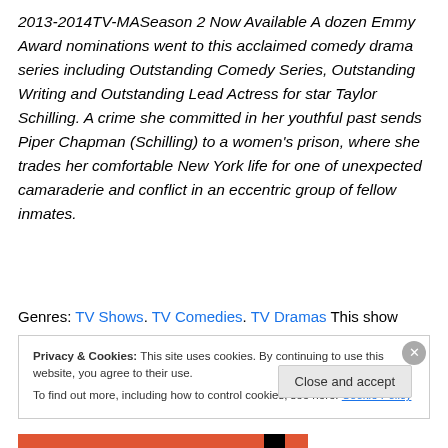2013-2014TV-MASeason 2 Now Available A dozen Emmy Award nominations went to this acclaimed comedy drama series including Outstanding Comedy Series, Outstanding Writing and Outstanding Lead Actress for star Taylor Schilling. A crime she committed in her youthful past sends Piper Chapman (Schilling) to a women's prison, where she trades her comfortable New York life for one of unexpected camaraderie and conflict in an eccentric group of fellow inmates.
Genres: TV Shows. TV Comedies. TV Dramas This show
Privacy & Cookies: This site uses cookies. By continuing to use this website, you agree to their use.
To find out more, including how to control cookies, see here: Cookie Policy
Close and accept